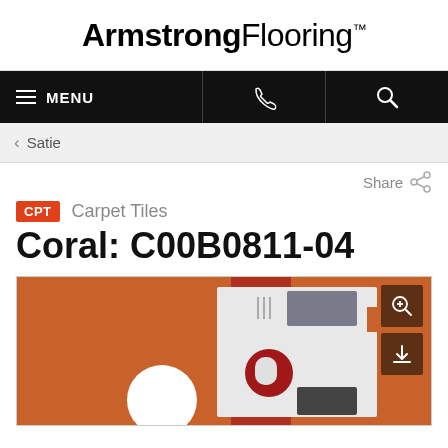Armstrong Flooring
MENU
< Satie
Share
CPT  Carpet Tiles
Coral: C00B0811-04
[Figure (photo): Product photo of Armstrong Flooring carpet tile Coral C00B0811-04, showing an orange/terracotta colored carpet tile with office objects arranged on it, viewed from above. There are zoom and download buttons overlaid on the image.]